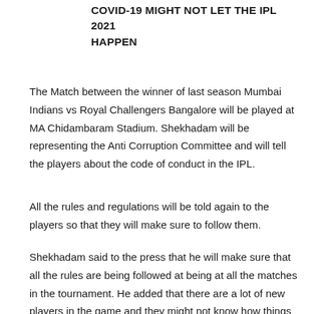COVID-19 MIGHT NOT LET THE IPL 2021 HAPPEN
The Match between the winner of last season Mumbai Indians vs Royal Challengers Bangalore will be played at MA Chidambaram Stadium. Shekhadam will be representing the Anti Corruption Committee and will tell the players about the code of conduct in the IPL.
All the rules and regulations will be told again to the players so that they will make sure to follow them.
Shekhadam said to the press that he will make sure that all the rules are being followed at being at all the matches in the tournament. He added that there are a lot of new players in the game and they might not know how things work. All the players will be thoroughly explained about the code of conduct.